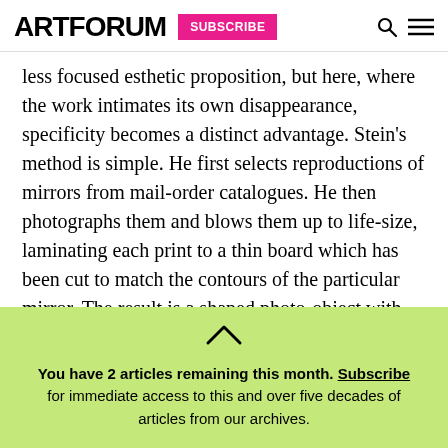ARTFORUM SUBSCRIBE
less focused esthetic proposition, but here, where the work intimates its own disappearance, specificity becomes a distinct advantage. Stein’s method is simple. He first selects reproductions of mirrors from mail-order catalogues. He then photographs them and blows them up to life-size, laminating each print to a thin board which has been cut to match the contours of the particular mirror. The result is a shaped photo-object with pointed Minimalist, Pop, and Conceptual art connotations. But curiously
You have 2 articles remaining this month. Subscribe for immediate access to this and over five decades of articles from our archives.